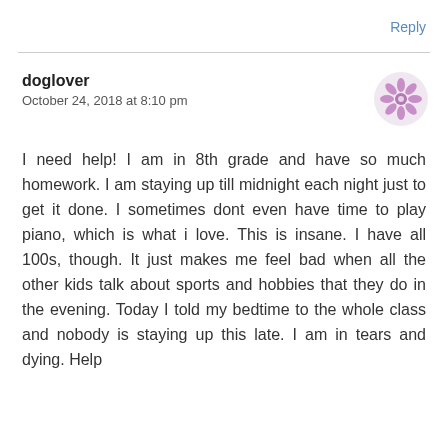Reply
doglover
October 24, 2018 at 8:10 pm
[Figure (illustration): Decorative avatar icon, a circular ornamental pattern in purple/mauve color resembling a snowflake or mandala design]
I need help! I am in 8th grade and have so much homework. I am staying up till midnight each night just to get it done. I sometimes dont even have time to play piano, which is what i love. This is insane. I have all 100s, though. It just makes me feel bad when all the other kids talk about sports and hobbies that they do in the evening. Today I told my bedtime to the whole class and nobody is staying up this late. I am in tears and dying. Help